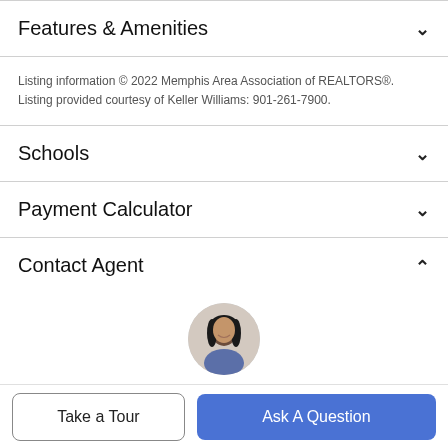Features & Amenities
Listing information © 2022 Memphis Area Association of REALTORS®. Listing provided courtesy of Keller Williams: 901-261-7900.
Schools
Payment Calculator
Contact Agent
[Figure (photo): Circular profile photo of a real estate agent, a woman with long dark hair, smiling.]
Take a Tour
Ask A Question